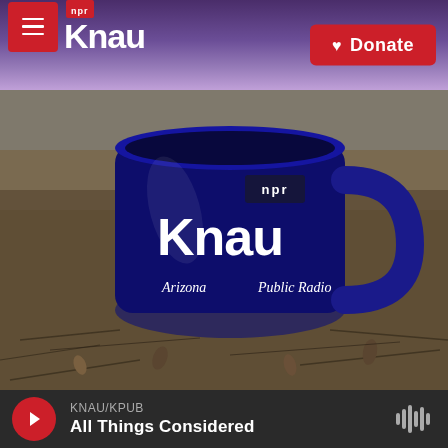KNAU Arizona Public Radio — NPR | Donate
[Figure (photo): A dark navy blue ceramic mug with the NPR KNAU Arizona Public Radio logo in white text, sitting outdoors on a bed of pine needles, small pinecones, and dry forest debris. Mountains visible in the background.]
KNAU/KPUB
All Things Considered